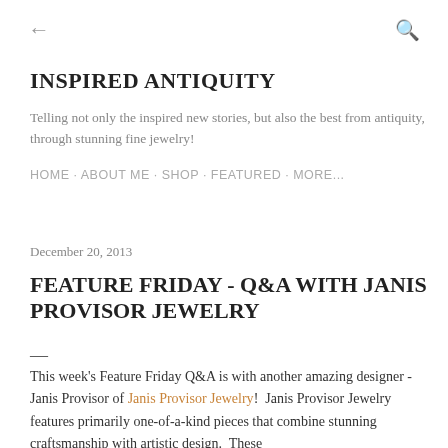← (back) Q (search)
INSPIRED ANTIQUITY
Telling not only the inspired new stories, but also the best from antiquity, through stunning fine jewelry!
HOME · ABOUT ME · SHOP · FEATURED · MORE...
December 20, 2013
FEATURE FRIDAY - Q&A WITH JANIS PROVISOR JEWELRY
This week's Feature Friday Q&A is with another amazing designer - Janis Provisor of Janis Provisor Jewelry!  Janis Provisor Jewelry features primarily one-of-a-kind pieces that combine stunning craftsmanship with artistic design.  These